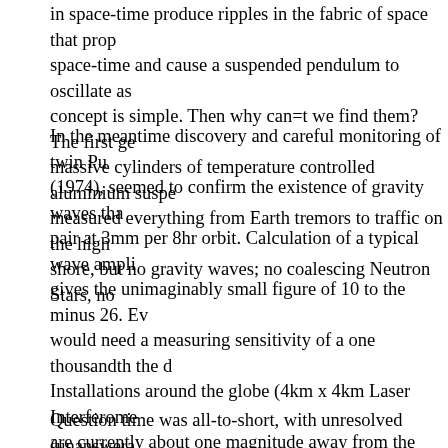in space-time produce ripples in the fabric of space that prop space-time and cause a suspended pendulum to oscillate as concept is simple. Then why can=t we find them? The first ge massive cylinders of temperature controlled aluminium suspe measured everything from Earth tremors to traffic on the high shore, but no gravity waves; no coalescing Neutron Stars, no
In the meantime discovery and careful monitoring of twin Pu (1974), seemed to confirm the existence of gravity waves tha pair at 3mm per 8hr orbit. Calculation of a typical wave ampli gives the unimaginably small figure of 10 to the minus 26. Ev would need a measuring sensitivity of a one thousandth the d Installations around the globe (4km x 4km Laser Interferome are currently about one magnitude away from the sensitivity Gravity waves at all. But an Advanced LIGO proposed will ha The new instruments take advantage of research that has ta were designed in the mid-1990=s, and call for changes in the systems), optics (40 kg sapphire crystals), seismic isolation s feedback), and the way in which the microscopic motion of th volume of space that the instrument can see grows as the cu the event rates will be more than 1,000 times greater. Advan integrated observation time of initial LIGO in roughly 3 hours
Question time was all-to-short, with unresolved (unanswera philosophical domain of cosmology. Can gravity, the only kno addition, gravity itself is self-constraining, since in some